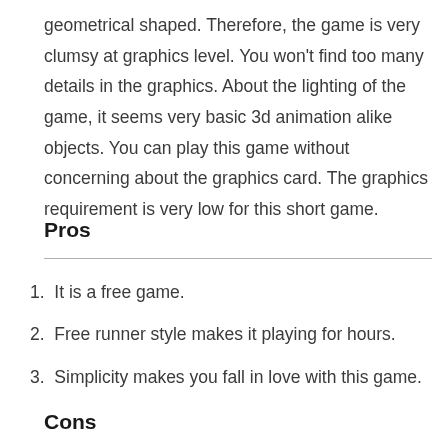geometrical shaped. Therefore, the game is very clumsy at graphics level. You won't find too many details in the graphics. About the lighting of the game, it seems very basic 3d animation alike objects. You can play this game without concerning about the graphics card. The graphics requirement is very low for this short game.
Pros
1.  It is a free game.
2.  Free runner style makes it playing for hours.
3.  Simplicity makes you fall in love with this game.
Cons